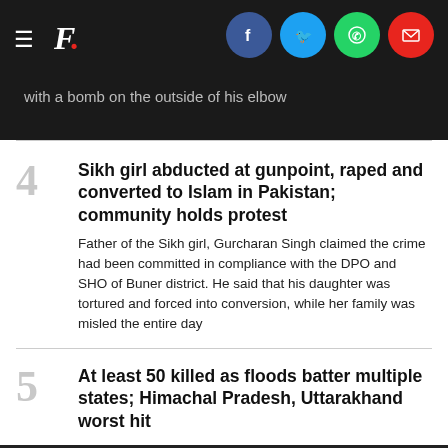F. [with hamburger menu and social share icons: Facebook, Twitter, WhatsApp, Email] with a bomb on the outside of his elbow
4 Sikh girl abducted at gunpoint, raped and converted to Islam in Pakistan; community holds protest — Father of the Sikh girl, Gurcharan Singh claimed the crime had been committed in compliance with the DPO and SHO of Buner district. He said that his daughter was tortured and forced into conversion, while her family was misled the entire day
5 At least 50 killed as floods batter multiple states; Himachal Pradesh, Uttarakhand worst hit — The death toll from the floods in Himachal Pradesh has risen to 27 after five more bodies were recovered on Sunday. Other states where heavy rains have been wreaking havoc include Odisha and Jharkhand